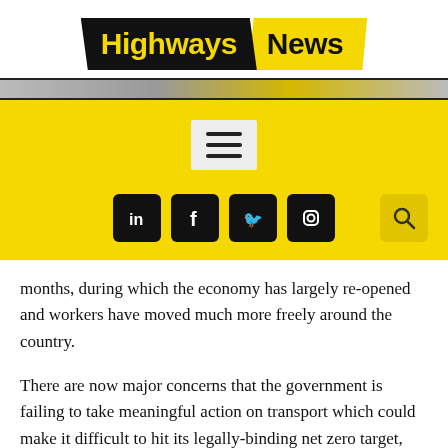[Figure (logo): Highways News logo with black parallelogram containing yellow 'Highways' text and yellow parallelogram containing black 'News' text]
[Figure (screenshot): Website navigation bar with hamburger menu icon and social media icons (LinkedIn, Facebook, Twitter, Instagram) and search icon on yellow background]
months, during which the economy has largely re-opened and workers have moved much more freely around the country.
There are now major concerns that the government is failing to take meaningful action on transport which could make it difficult to hit its legally-binding net zero target, said the Independent report.